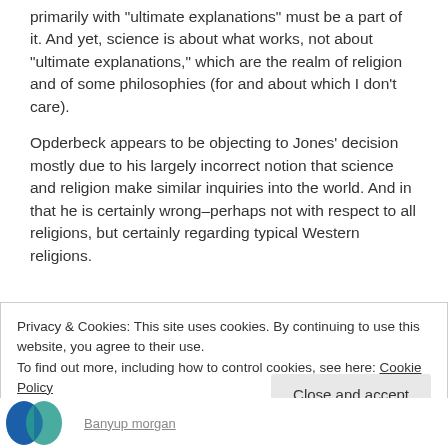primarily with "ultimate explanations" must be a part of it. And yet, science is about what works, not about "ultimate explanations," which are the realm of religion and of some philosophies (for and about which I don't care).
Opderbeck appears to be objecting to Jones' decision mostly due to his largely incorrect notion that science and religion make similar inquiries into the world. And in that he is certainly wrong–perhaps not with respect to all religions, but certainly regarding typical Western religions.
Privacy & Cookies: This site uses cookies. By continuing to use this website, you agree to their use.
To find out more, including how to control cookies, see here: Cookie Policy
Close and accept